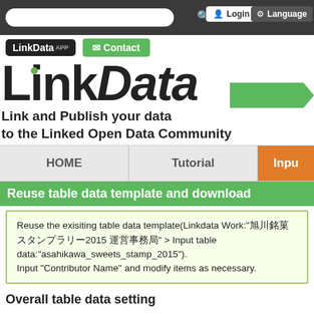[Figure (screenshot): LinkData website screenshot showing search bar, login and language buttons in dark top bar]
[Figure (logo): LinkData App logo button and Contact button in green]
LinkData
Link and Publish your data to the Linked Open Data Community
HOME
Tutorial
Inpu
Reuse table data template and download
Reuse the exisiting table data template(Linkdata Work:"旭川銘菓スタンプラリー2015 運営事務局" > Input table data:"asahikawa_sweets_stamp_2015").
Input "Contributor Name" and modify items as necessary.
Overall table data setting